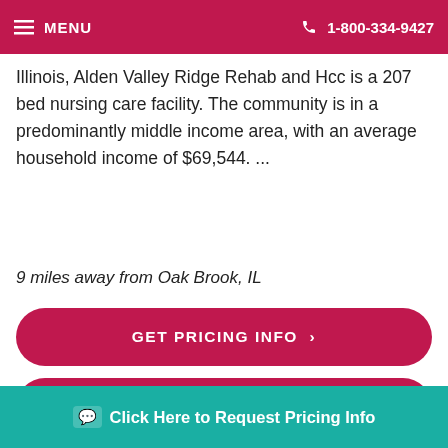MENU  1-800-334-9427
Illinois, Alden Valley Ridge Rehab and Hcc is a 207 bed nursing care facility. The community is in a predominantly middle income area, with an average household income of $69,544. ...
9 miles away from Oak Brook, IL
GET PRICING INFO ›
SEE DETAILS ›
[Figure (photo): Partial photo strip of a person visible at the bottom of the page]
Click Here to Request Pricing Info